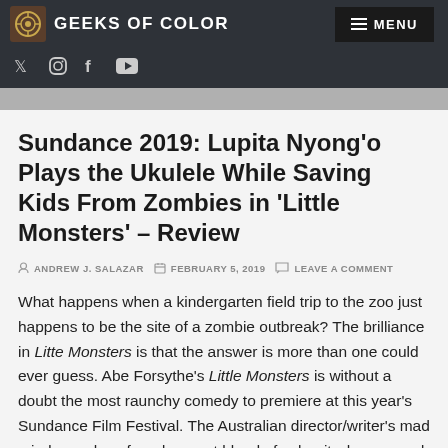GEEKS OF COLOR
Sundance 2019: Lupita Nyong'o Plays the Ukulele While Saving Kids From Zombies in 'Little Monsters' – Review
ANDREW J. SALAZAR   FEBRUARY 5, 2019   LEAVE A COMMENT
What happens when a kindergarten field trip to the zoo just happens to be the site of a zombie outbreak? The brilliance in Litte Monsters is that the answer is more than one could ever guess. Abe Forsythe's Little Monsters is without a doubt the most raunchy comedy to premiere at this year's Sundance Film Festival. The Australian director/writer's mad mind somehow found a great blend of vulgarity, humor, and pure